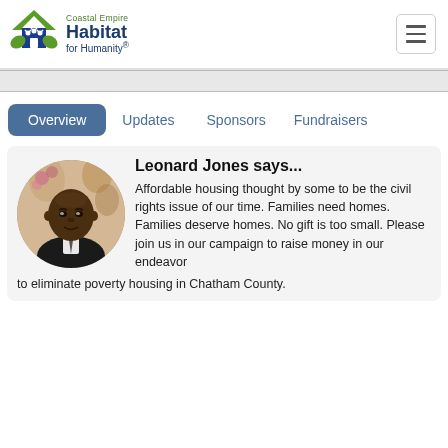[Figure (logo): Coastal Empire Habitat for Humanity logo with house icon and people figures in blue and green]
Coastal Empire Habitat for Humanity
Overview  Updates  Sponsors  Fundraisers
Leonard Jones says... Affordable housing thought by some to be the civil rights issue of our time. Families need homes. Families deserve homes. No gift is too small. Please join us in our campaign to raise money in our endeavor to eliminate poverty housing in Chatham County.